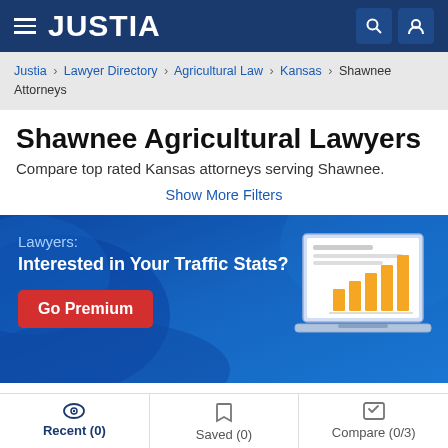JUSTIA
Justia › Lawyer Directory › Agricultural Law › Kansas › Shawnee Attorneys
Shawnee Agricultural Lawyers
Compare top rated Kansas attorneys serving Shawnee.
Show More Filters
[Figure (screenshot): Justia premium banner ad with blue gradient background, text 'Lawyers: Interested in Your Traffic Stats?', a red 'Go Premium' button, and a laptop illustration showing a bar chart with orange bars.]
Recent (0) | Saved (0) | Compare (0/3)